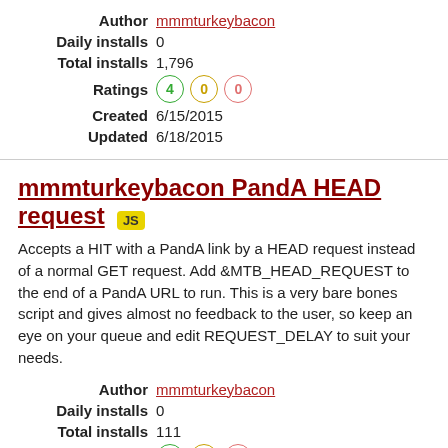| Label | Value |
| --- | --- |
| Author | mmmturkeybacon |
| Daily installs | 0 |
| Total installs | 1,796 |
| Ratings | 4 0 0 |
| Created | 6/15/2015 |
| Updated | 6/18/2015 |
mmmturkeybacon PandA HEAD request JS
Accepts a HIT with a PandA link by a HEAD request instead of a normal GET request. Add &MTB_HEAD_REQUEST to the end of a PandA URL to run. This is a very bare bones script and gives almost no feedback to the user, so keep an eye on your queue and edit REQUEST_DELAY to suit your needs.
| Label | Value |
| --- | --- |
| Author | mmmturkeybacon |
| Daily installs | 0 |
| Total installs | 111 |
| Ratings | 1 0 0 |
| Created | 12/23/2015 |
| Updated | 12/23/2015 |